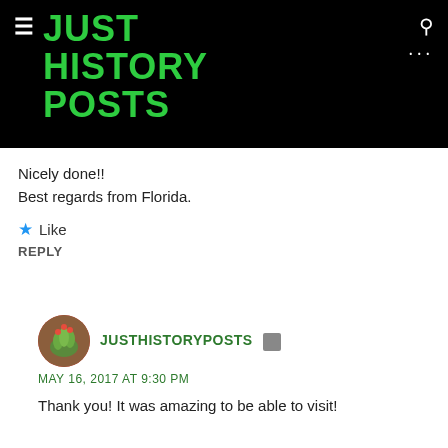JUST HISTORY POSTS
Nicely done!!
Best regards from Florida.
Like
REPLY
[Figure (photo): Round avatar image of a cactus/succulent plant]
JUSTHISTORYPOSTS
MAY 16, 2017 AT 9:30 PM
Thank you! It was amazing to be able to visit!